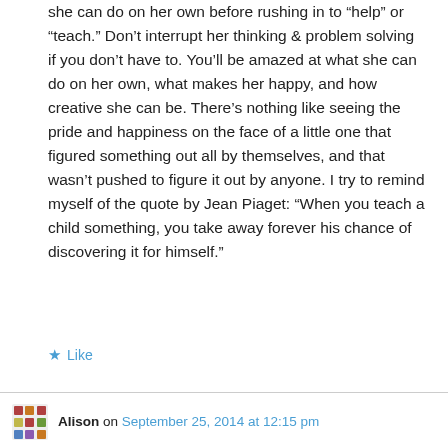she can do on her own before rushing in to “help” or “teach.” Don’t interrupt her thinking & problem solving if you don’t have to. You’ll be amazed at what she can do on her own, what makes her happy, and how creative she can be. There’s nothing like seeing the pride and happiness on the face of a little one that figured something out all by themselves, and that wasn’t pushed to figure it out by anyone. I try to remind myself of the quote by Jean Piaget: “When you teach a child something, you take away forever his chance of discovering it for himself.”
Like
Alison on September 25, 2014 at 12:15 pm